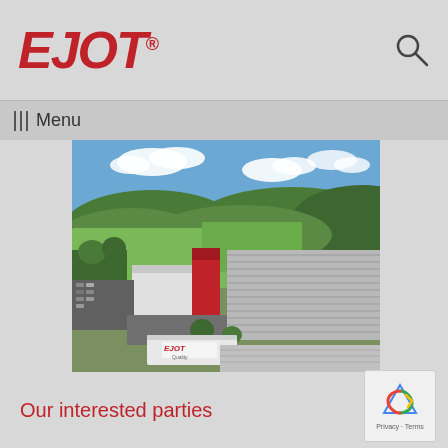EJOT®
Menu
[Figure (photo): Aerial drone photograph of EJOT industrial facility and warehouse complex surrounded by green hills and countryside, with an EJOT-branded truck trailer in the foreground]
Our interested parties